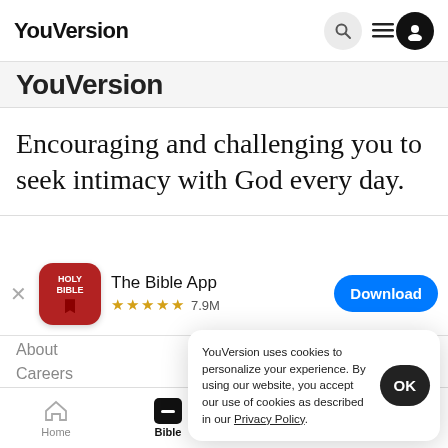YouVersion
YouVersion
Encouraging and challenging you to seek intimacy with God every day.
[Figure (screenshot): The Bible App icon with Holy Bible and bookmark, app store banner with 5 stars, 7.9M ratings, and Download button]
About	Help
Careers
YouVersion uses cookies to personalize your experience. By using our website, you accept our use of cookies as described in our Privacy Policy.
Home  Bible  Plans  Videos